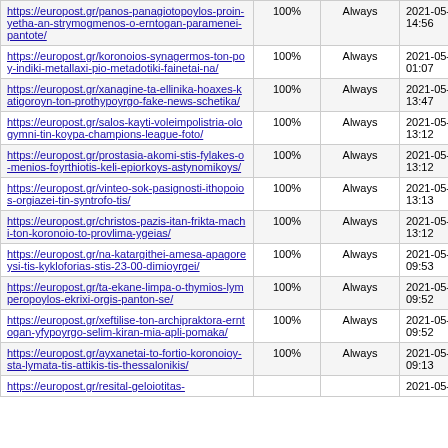| URL | Score | Frequency | Last Modified |
| --- | --- | --- | --- |
| https://europost.gr/panos-panagiotopoylos-proin-yetha-an-strymogmenos-o-erntogan-paramenei-pantote/ | 100% | Always | 2021-05-09 14:56 |
| https://europost.gr/koronoios-synagermos-ton-poy-indiki-metallaxi-pio-metadotiki-fainetai-na/ | 100% | Always | 2021-05-09 01:07 |
| https://europost.gr/xanagine-ta-ellinika-hoaxes-katigoroyn-ton-prothypoyrgo-fake-news-schetika/ | 100% | Always | 2021-05-09 13:47 |
| https://europost.gr/salos-kayti-voleimpolistria-ologymni-tin-koypa-champions-league-foto/ | 100% | Always | 2021-05-09 13:12 |
| https://europost.gr/prostasia-akomi-stis-fylakes-o-menios-foyrthiotis-keli-epiorkoys-astynomikoys/ | 100% | Always | 2021-05-09 13:12 |
| https://europost.gr/vinteo-sok-pasignosti-ithopoios-orgiazei-tin-syntrofo-tis/ | 100% | Always | 2021-05-09 13:13 |
| https://europost.gr/christos-pazis-itan-frikta-machi-ton-koronoio-to-provlima-ygeias/ | 100% | Always | 2021-05-09 13:12 |
| https://europost.gr/na-katargithei-amesa-apagoreysi-tis-kykloforias-stis-23-00-dimioyrgei/ | 100% | Always | 2021-05-09 09:53 |
| https://europost.gr/ta-ekane-limpa-o-thymios-lymperopoylos-ekrixi-orgis-panton-se/ | 100% | Always | 2021-05-09 09:52 |
| https://europost.gr/xeftilise-ton-archipraktora-erntogan-yfypoyrgo-selim-kiran-mia-apli-pomaka/ | 100% | Always | 2021-05-09 09:52 |
| https://europost.gr/ayxanetai-to-fortio-koronoioy-sta-lymata-tis-attikis-tis-thessalonikis/ | 100% | Always | 2021-05-09 09:13 |
| https://europost.gr/resital-geloiotitas- | 100% | Always | 2021-05-09 |